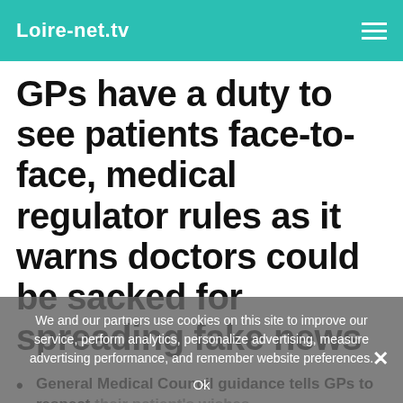Loire-net.tv
GPs have a duty to see patients face-to-face, medical regulator rules as it warns doctors could be sacked for spreading fake news
General Medical Council guidance tells GPs to respect their patient's wishes
It says doctors must offer patients choice of whether to see them face to face or remotely
New directive is in a revised version of the GMC's core
We and our partners use cookies on this site to improve our service, perform analytics, personalize advertising, measure advertising performance, and remember website preferences.